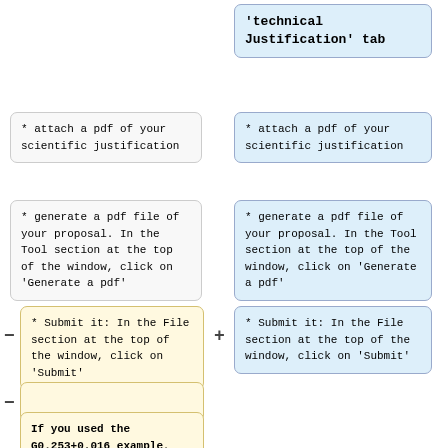'technical Justification' tab
* attach a pdf of your scientific justification
* attach a pdf of your scientific justification
* generate a pdf file of your proposal. In the Tool section at the top of the window, click on 'Generate a pdf'
* generate a pdf file of your proposal. In the Tool section at the top of the window, click on 'Generate a pdf'
* Submit it: In the File section at the top of the window, click on 'Submit'
* Submit it: In the File section at the top of the window, click on 'Submit'
If you used the G0.253+0.016 example,